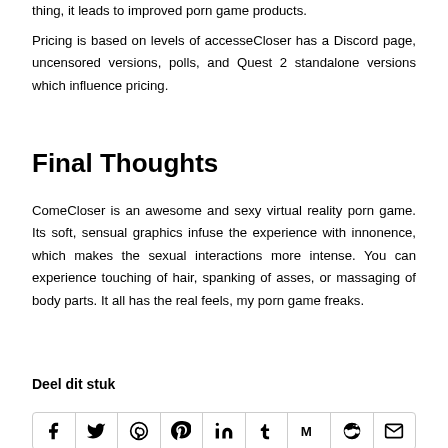thing, it leads to improved porn game products.
Pricing is based on levels of accesseCloser has a Discord page, uncensored versions, polls, and Quest 2 standalone versions which influence pricing.
Final Thoughts
ComeCloser is an awesome and sexy virtual reality porn game. Its soft, sensual graphics infuse the experience with innonence, which makes the sexual interactions more intense. You can experience touching of hair, spanking of asses, or massaging of body parts. It all has the real feels, my porn game freaks.
Deel dit stuk
[Figure (other): Row of social media share buttons: Facebook, Twitter, Pinterest, Pinterest, LinkedIn, Tumblr, Mix, Reddit, Email]